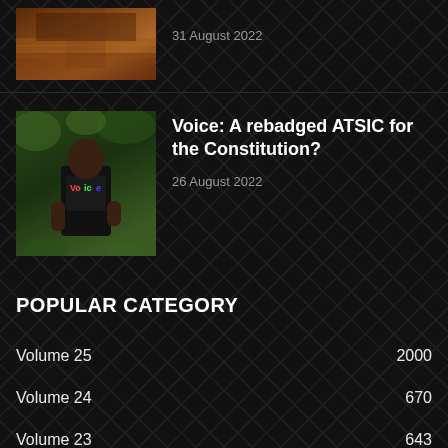[Figure (photo): Thumbnail photo showing a flooded reddish-brown path or road with water]
31 August 2022
[Figure (photo): Photo of a child or young person wearing a black t-shirt with colorful 'Voice' text logo, standing outdoors]
Voice: A rebadged ATSIC for the Constitution?
26 August 2022
POPULAR CATEGORY
Volume 25   2000
Volume 24   670
Volume 23   643
Volume 22   622
Volume 21   617
Volume 19   538
Volume 20   531